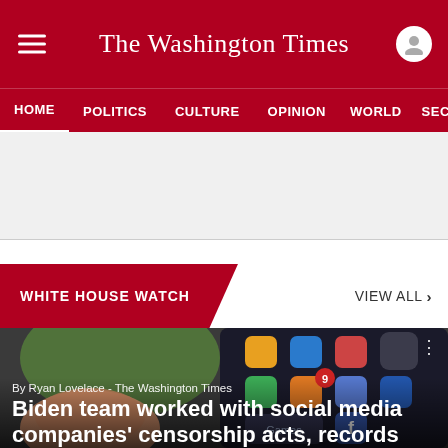The Washington Times
HOME  POLITICS  CULTURE  OPINION  WORLD  SECURITY
[Figure (other): Advertisement placeholder area, light gray background]
WHITE HOUSE WATCH
VIEW ALL >
[Figure (photo): Close-up photo of a finger tapping on a smartphone screen showing app icons including Facebook and a Games folder]
By Ryan Lovelace - The Washington Times
Biden team worked with social media companies' censorship acts, records